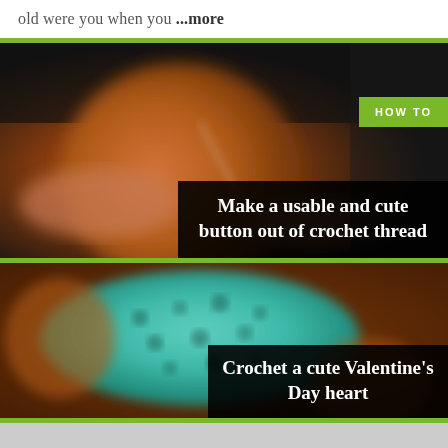old were you when you ...more
[Figure (photo): Close-up blurred photo of hands holding an orange crochet button being sewn. Dark background. Green 'HOW TO' badge in top right. Title overlay reads 'Make a usable and cute button out of crochet thread'.]
Make a usable and cute button out of crochet thread
[Figure (photo): Close-up blurred photo of a teal/turquoise crochet Valentine's Day heart resting on an orange crochet base. Green 'HOW TO' badge in top right. Title overlay reads 'Crochet a cute Valentine's Day heart'.]
Crochet a cute Valentine's Day heart
[Figure (photo): Partial view of a third image block at the bottom, light grey/blurred content.]